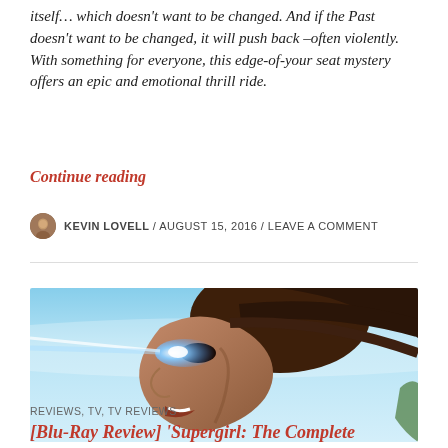itself… which doesn't want to be changed. And if the Past doesn't want to be changed, it will push back –often violently. With something for everyone, this edge-of-your seat mystery offers an epic and emotional thrill ride.
Continue reading
KEVIN LOVELL / AUGUST 15, 2016 / LEAVE A COMMENT
[Figure (photo): Close-up side profile of a female superhero (Supergirl) with glowing eyes, flying against a blue sky backdrop.]
REVIEWS, TV, TV REVIEWS
[Blu-Ray Review] 'Supergirl: The Complete